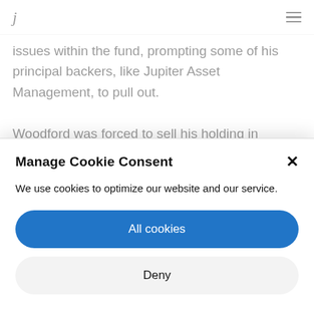j
issues within the fund, prompting some of his principal backers, like Jupiter Asset Management, to pull out.

Woodford was forced to sell his holding in pension provider and investment broker AJ Bell, as a result of a growing weighting in the rest of the fund towards listed and unlisted ventures.
Manage Cookie Consent
We use cookies to optimize our website and our service.
All cookies
Deny